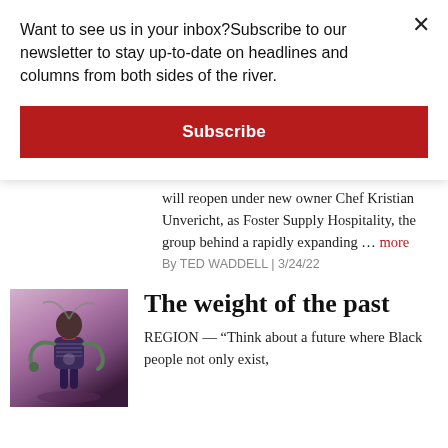Want to see us in your inbox?Subscribe to our newsletter to stay up-to-date on headlines and columns from both sides of the river.
Subscribe
will reopen under new owner Chef Kristian Unvericht, as Foster Supply Hospitality, the group behind a rapidly expanding … more
By TED WADDELL | 3/24/22
[Figure (illustration): Artistic illustration of a figure in futuristic/sci-fi styled clothing against a purple-pink background]
The weight of the past
REGION — “Think about a future where Black people not only exist,